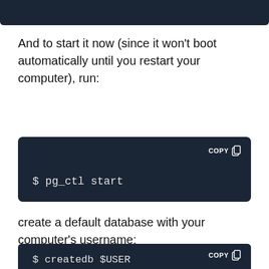[Figure (screenshot): Dark top bar from previous code block]
And to start it now (since it won't boot automatically until you restart your computer), run:
[Figure (screenshot): Dark code block showing: $ pg_ctl start]
create a default database with your computer's username:
[Figure (screenshot): Partial dark code block showing beginning of createdb $USER command]